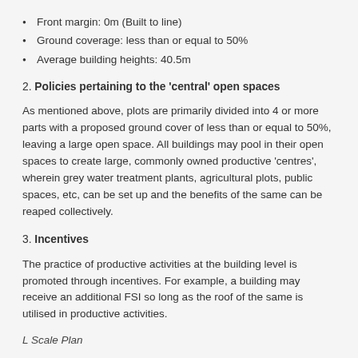Front margin: 0m (Built to line)
Ground coverage: less than or equal to 50%
Average building heights: 40.5m
2. Policies pertaining to the 'central' open spaces
As mentioned above, plots are primarily divided into 4 or more parts with a proposed ground cover of less than or equal to 50%, leaving a large open space. All buildings may pool in their open spaces to create large, commonly owned productive 'centres', wherein grey water treatment plants, agricultural plots, public spaces, etc, can be set up and the benefits of the same can be reaped collectively.
3. Incentives
The practice of productive activities at the building level is promoted through incentives. For example, a building may receive an additional FSI so long as the roof of the same is utilised in productive activities.
L Scale Plan